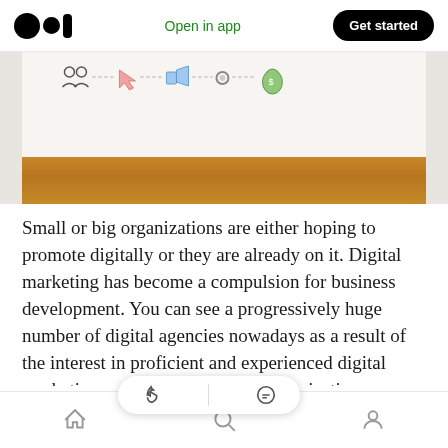Medium app header — Open in app | Get started
[Figure (photo): Partial photo showing a whiteboard or poster with digital marketing funnel icons (people, arrows, megaphone, gear, money bag) connected by dotted lines, with a wooden floor/table surface visible at the bottom.]
Small or big organizations are either hoping to promote digitally or they are already on it. Digital marketing has become a compulsion for business development. You can see a progressively huge number of digital agencies nowadays as a result of the interest in proficient and experienced digital marketing rather than the organizations separating their heads to
Home | Search | Profile — bottom navigation bar